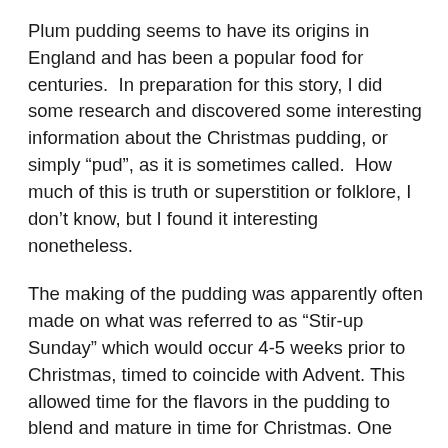Plum pudding seems to have its origins in England and has been a popular food for centuries.  In preparation for this story, I did some research and discovered some interesting information about the Christmas pudding, or simply “pud”, as it is sometimes called.  How much of this is truth or superstition or folklore, I don’t know, but I found it interesting nonetheless.
The making of the pudding was apparently often made on what was referred to as “Stir-up Sunday” which would occur 4-5 weeks prior to Christmas, timed to coincide with Advent. This allowed time for the flavors in the pudding to blend and mature in time for Christmas. One theory was to have 13 ingredients in the pudding to represent Christ and the 12 disciples. It was also customary for each member of the family to give a stir to the batter and make a wish while doing so on the premise that the wish would then come true.  Each person was to stir the batter from East to West to commemorate the